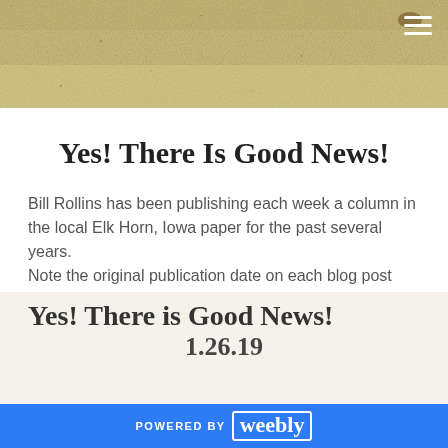[Figure (photo): Grainy sandy/grain texture background image used as website header banner]
Yes! There Is Good News!
Bill Rollins has been publishing each week a column in the local Elk Horn, Iowa paper for the past several years.
Note the original publication date on each blog post
Yes! There is Good News!
1.26.19
POWERED BY weebly